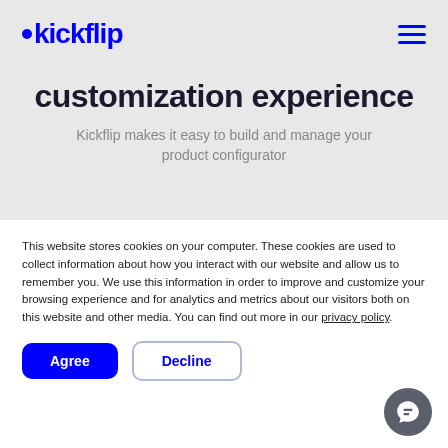[Figure (logo): Kickflip logo with blue dot and bold blue text]
customization experience
Kickflip makes it easy to build and manage your product configurator
This website stores cookies on your computer. These cookies are used to collect information about how you interact with our website and allow us to remember you. We use this information in order to improve and customize your browsing experience and for analytics and metrics about our visitors both on this website and other media. You can find out more in our privacy policy.
Agree
Decline